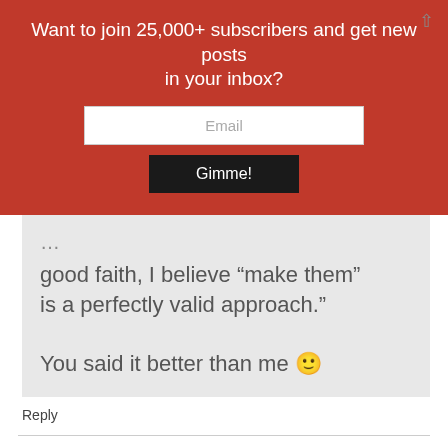Want to join 25,000+ subscribers and get new posts in your inbox?
Email
Gimme!
good faith, I believe “make them” is a perfectly valid approach.” You said it better than me 🙂
Reply
JosephE Richmond
November 24, 2021 at 2:29 am
Thank you for sharing your